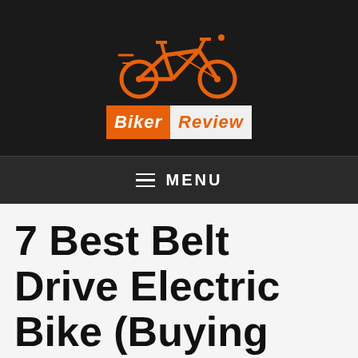[Figure (logo): Biker Review logo: orange bicycle icon above two-tone text badge with 'Biker' on orange background and 'Review' in orange on white/light background]
≡ MENU
7 Best Belt Drive Electric Bike (Buying Guide and Review)